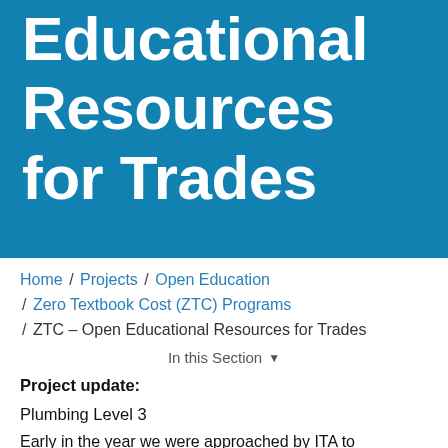[Figure (photo): Hero banner image with blue overlay showing people in a trades/workshop setting, with large white bold text reading 'Educational Resources for Trades']
Educational Resources for Trades
Home / Projects / Open Education / Zero Textbook Cost (ZTC) Programs / ZTC – Open Educational Resources for Trades
In this Section ▾
Project update:
Plumbing Level 3
Early in the year we were approached by ITA to